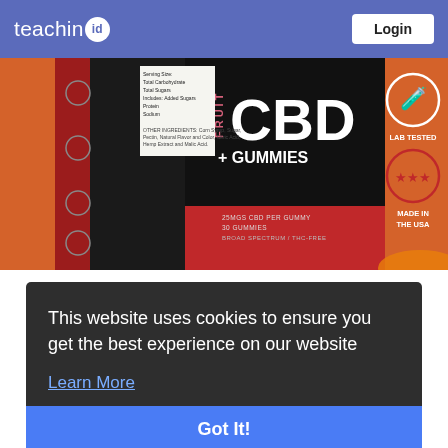teachin.id  Login
[Figure (photo): CBD Fruit Gummies product jar with black label showing 'FRUIT CBD + GUMMIES', lab tested and made in USA badges on orange background]
This website uses cookies to ensure you get the best experience on our website
Learn More
Got It!